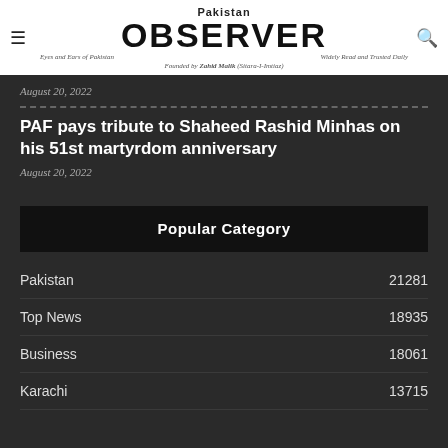Pakistan OBSERVER — Eyes and Ears of Pakistan | Widely Read and Trusted Daily | Founded by Zahid Malik (Sitara-I-Imtiaz)
August 20, 2022
PAF pays tribute to Shaheed Rashid Minhas on his 51st martyrdom anniversary
August 20, 2022
Popular Category
Pakistan 21281
Top News 18935
Business 18061
Karachi 13715